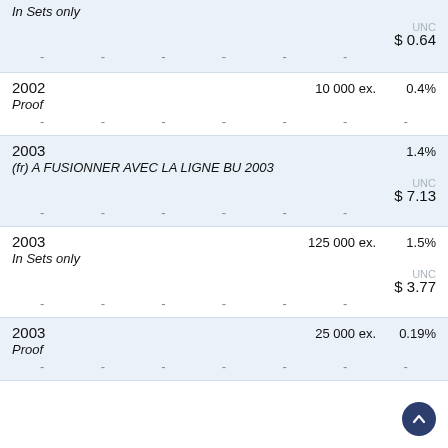In Sets only
|  |  |  |  |  |  | UNC |
| --- | --- | --- | --- | --- | --- | --- |
| - | - | - | - | - | - | $ 0.64 |
| 2002 |  |  | 10 000 ex. | 0.4% |  |  |
| Proof |  |  |  |  |  |  |
| - | - | - | - | - | - | - |
| 2003 |  |  |  | 1.4% |  |  |
| (fr) A FUSIONNER AVEC LA LIGNE BU 2003 |  |  |  |  |  |  |
| - | - | - | - | - | - | $ 7.13 |
| 2003 |  |  | 125 000 ex. | 1.5% |  |  |
| In Sets only |  |  |  |  |  |  |
| - | - | - | - | - | - | $ 3.77 |
| 2003 |  |  | 25 000 ex. | 0.19% |  |  |
| Proof |  |  |  |  |  |  |
| - | - | - | - | - | - | - |